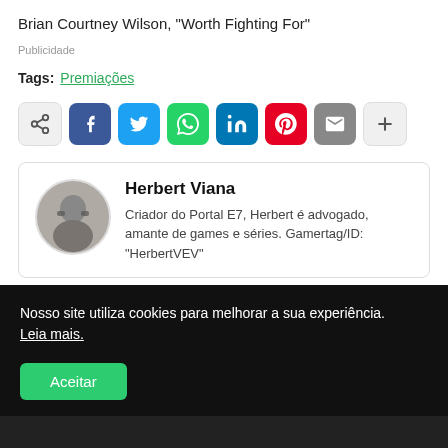Brian Courtney Wilson, "Worth Fighting For"
Publicidade
Tags: Premiações
[Figure (infographic): Social share buttons row: native share icon, Facebook, Twitter, WhatsApp, LinkedIn, Pinterest, Email, plus button]
Herbert Viana
Criador do Portal E7, Herbert é advogado, amante de games e séries. Gamertag/ID: "HerbertVEV"
Nosso site utiliza cookies para melhorar a sua experiência. Leia mais.
Aceitar